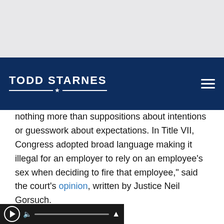[Figure (screenshot): Todd Starnes website navigation bar with logo on dark navy background and hamburger menu icon]
nothing more than suppositions about intentions or guesswork about expectations. In Title VII, Congress adopted broad language making it illegal for an employer to rely on an employee's sex when deciding to fire that employee," said the court's opinion, written by Justice Neil Gorsuch.
Alliance Defending Freedom, which represented the funeral home, said the ruling is devastating.
“Redefining ‘sex’ to mean ‘gender identity’ will create chaos and enormous unfairness for women and girls in …nen’s shelters, and many other contexts,”